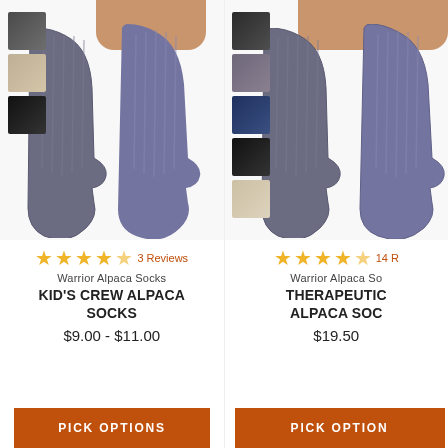[Figure (photo): Two gray alpaca crew socks with color swatches (dark gray, tan, black) on the left side. Product image for Kid's Crew Alpaca Socks.]
★★★★½ 3 Reviews
Warrior Alpaca Socks
KID'S CREW ALPACA SOCKS
$9.00 - $11.00
PICK OPTIONS
[Figure (photo): Two gray alpaca socks (partially visible) with color swatches (charcoal, purple-gray, navy, black, beige) on the left side. Product image for Therapeutic Alpaca Socks.]
★★★★½ 14 R[eviews]
Warrior Alpaca So[cks]
THERAPEUTIC ALPACA SOC[KS]
$19.50
PICK OPTION[S]